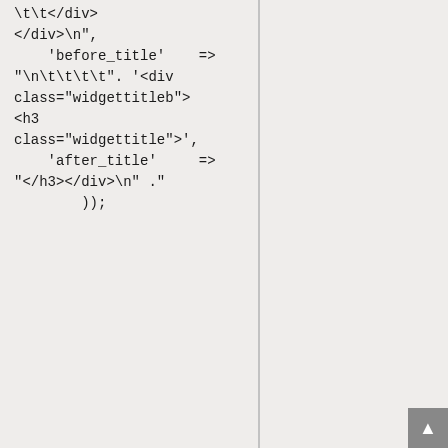</div>\n",
    'before_title'    =>
"\n\t\t\t\t". '<div class="widgettitleb"><h3 class="widgettitle">',
    'after_title'     =>
"</h3></div>\n" .
        ));
name　　　SingleBottom
description　　　SinglePage Bottom
id　singlebottom
before_widget